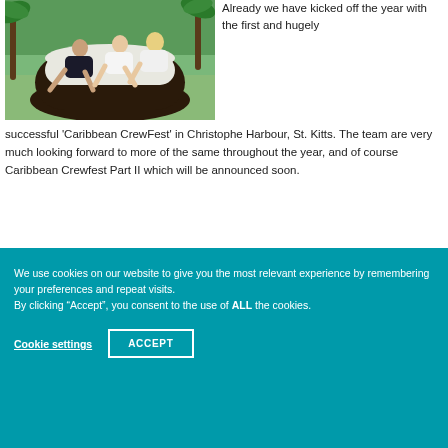[Figure (photo): Photo of people relaxing in a large round dark wicker outdoor chair/sofa with white cushions, palm trees and greenery in background.]
Already we have kicked off the year with the first and hugely successful 'Caribbean CrewFest' in Christophe Harbour, St. Kitts. The team are very much looking forward to more of the same throughout the year, and of course Caribbean Crewfest Part II which will be announced soon.
We use cookies on our website to give you the most relevant experience by remembering your preferences and repeat visits.
By clicking “Accept”, you consent to the use of ALL the cookies.
Cookie settings
ACCEPT